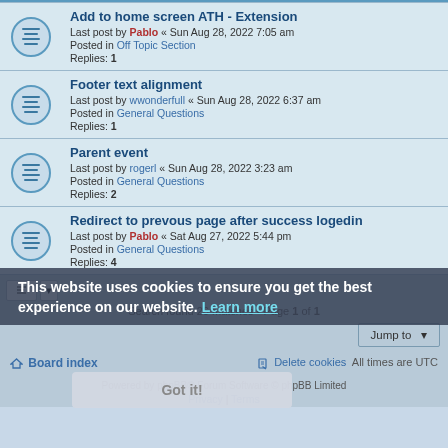Add to home screen ATH - Extension
Last post by Pablo « Sun Aug 28, 2022 7:05 am
Posted in Off Topic Section
Replies: 1
Footer text alignment
Last post by wwonderfull « Sun Aug 28, 2022 6:37 am
Posted in General Questions
Replies: 1
Parent event
Last post by rogerl « Sun Aug 28, 2022 3:23 am
Posted in General Questions
Replies: 2
Redirect to prevous page after success logedin
Last post by Pablo « Sat Aug 27, 2022 5:44 pm
Posted in General Questions
Replies: 4
Search found 26 matches • Page 1 of 1
Board index | Delete cookies | All times are UTC
Powered by phpBB® Forum Software © phpBB Limited
Privacy | Terms